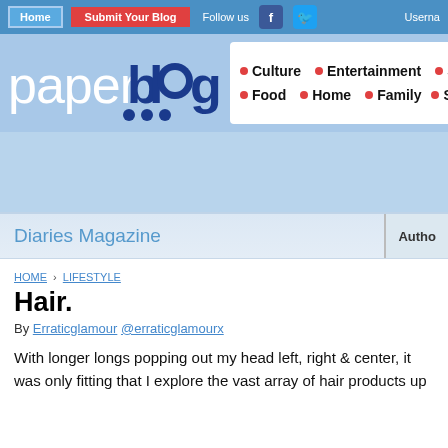Home | Submit Your Blog | Follow us | Username
[Figure (logo): Paperblog logo with paper in white and blog in dark blue with decorative circles]
Culture • Entertainment • So... • Food • Home • Family • S...
[Figure (other): Advertisement banner area]
Diaries Magazine  |  Author
HOME › LIFESTYLE
Hair.
By Erraticglamour @erraticglamourx
With longer longs popping out my head left, right & center, it was only fitting that I explore the vast array of hair products up...